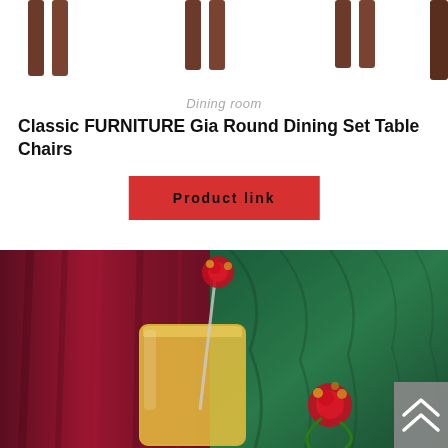[Figure (photo): Tops of wooden chair legs visible at top of page, cropped product image of a dining set]
Dining room
Classic FURNITURE Gia Round Dining Set Table Chairs
Product link
[Figure (photo): Close-up photo of a decorated glass with yellow drink and red rose floral straw stirrer, with red curtain and green leaf background]